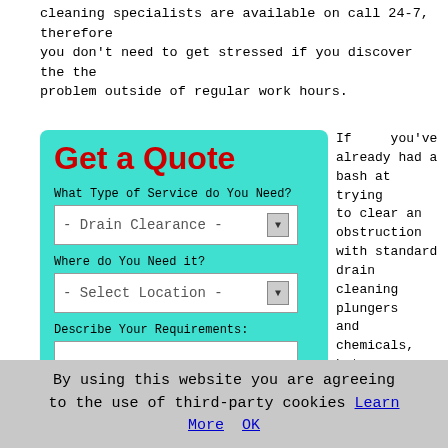cleaning specialists are available on call 24-7, therefore you don't need to get stressed if you discover the the problem outside of regular work hours.
[Figure (screenshot): Get a Quote web form with teal background, containing title 'Get a Quote' in red bold, a dropdown for service type showing 'Drain Clearance', a dropdown for location showing 'Select Location', and a textarea for requirements.]
If you've already had a bash at trying to clear an obstruction with standard drain cleaning plungers and chemicals, but failed to have much impact, it is likely that you are going to need specialist help. In order to determine the easiest approach to
By using this website you are agreeing to the use of third-party cookies Learn More  OK